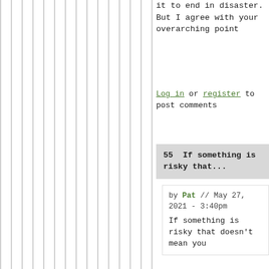it to end in disaster. But I agree with your overarching point
Log in or register to post comments
55  If something is risky that...
by Pat // May 27, 2021 - 3:40pm
If something is risky that doesn't mean you